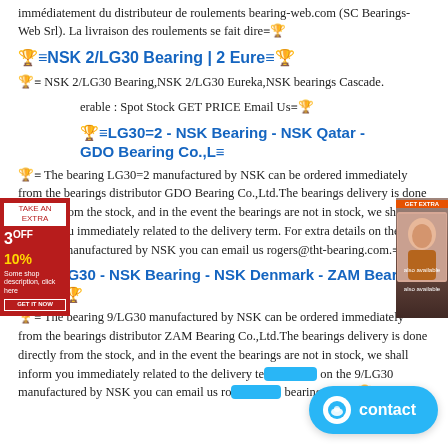immédiatement du distributeur de roulements bearing-web.com (SC Bearings-Web Srl). La livraison des roulements se fait dire≡🏆
🏆≡NSK 2/LG30 Bearing | 2 Eure≡🏆
🏆≡ NSK 2/LG30 Bearing,NSK 2/LG30 Eureka,NSK bearings Cascade.
erable : Spot Stock GET PRICE Email Us≡🏆
🏆≡LG30=2 - NSK Bearing - NSK Qatar - GDO Bearing Co.,L≡
🏆≡ The bearing LG30=2 manufactured by NSK can be ordered immediately from the bearings distributor GDO Bearing Co.,Ltd.The bearings delivery is done directly from the stock, and in the event the bearings are not in stock, we shall inform you immediately related to the delivery term. For extra details on the LG30=2 manufactured by NSK you can email us rogers@tht-bearing.com.≡🏆
🏆≡9/LG30 - NSK Bearing - NSK Denmark - ZAM Bearing Co.,L≡🏆
🏆≡ The bearing 9/LG30 manufactured by NSK can be ordered immediately from the bearings distributor ZAM Bearing Co.,Ltd.The bearings delivery is done directly from the stock, and in the event the bearings are not in stock, we shall inform you immediately related to the delivery te... on the 9/LG30 manufactured by NSK you can email us ro... bearing.com.≡🏆